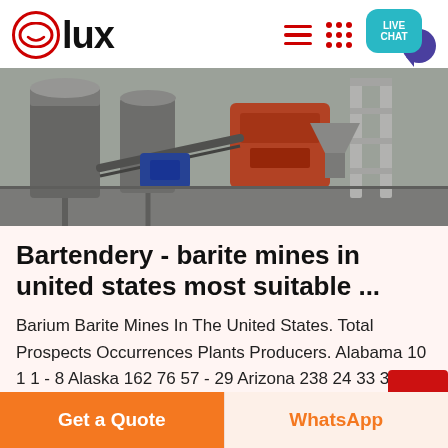[Figure (logo): Lux brand logo with red circle smiley icon and bold 'lux' text]
[Figure (photo): Industrial mining or milling machinery in a factory setting — grey and white equipment, conveyor and crusher equipment]
Bartendery - barite mines in united states most suitable ...
Barium Barite Mines In The United States. Total Prospects Occurrences Plants Producers. Alabama 10 1 1 - 8 Alaska 162 76 57 - 29 Arizona 238 24 33 3 178 Arkansas 5 3 2 - - California 92 49 4 1 38 Colorado 51
Get a Quote | WhatsApp